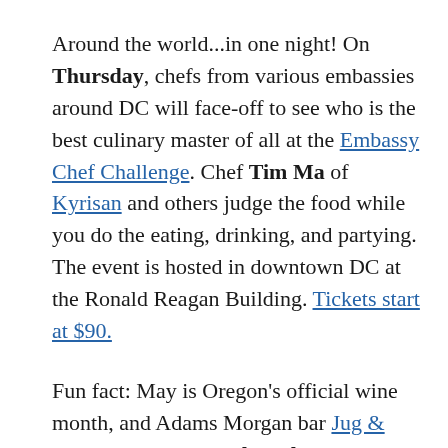Around the world...in one night! On Thursday, chefs from various embassies around DC will face-off to see who is the best culinary master of all at the Embassy Chef Challenge. Chef Tim Ma of Kyrisan and others judge the food while you do the eating, drinking, and partying. The event is hosted in downtown DC at the Ronald Reagan Building. Tickets start at $90.
Fun fact: May is Oregon's official wine month, and Adams Morgan bar Jug & Table celebrates on Thursday with a tasting. The winemakers at Stoller Family Estate Winery are in town to